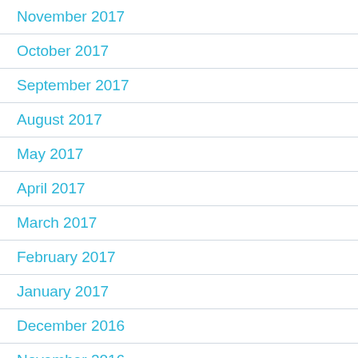November 2017
October 2017
September 2017
August 2017
May 2017
April 2017
March 2017
February 2017
January 2017
December 2016
November 2016